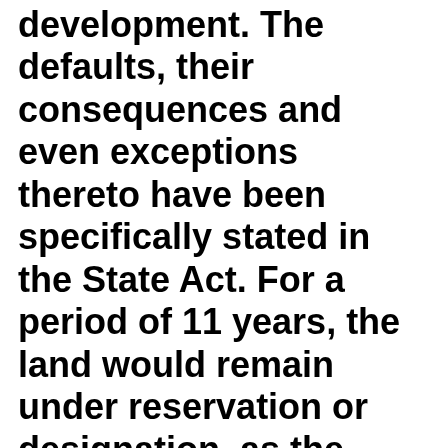development. The defaults, their consequences and even exceptions thereto have been specifically stated in the State Act. For a period of 11 years, the land would remain under reservation or designation, as the case may be, in terms of Section 127 of the MRTP Act (10 years + notice period). 134. However, if the provisions of Section 11-A of the Central Act were permitted to punctuate a